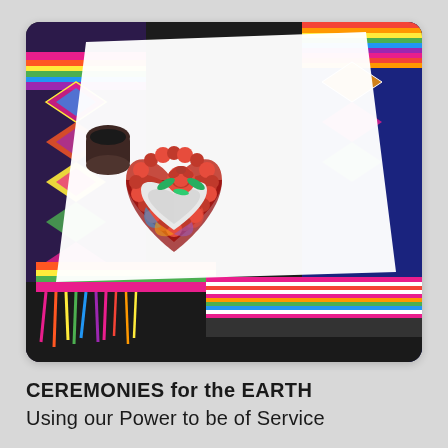[Figure (photo): A heart-shaped ceremonial arrangement with white wax/substance and red carnation flowers with green leaves, placed on white paper, surrounded by colorful woven Andean textiles in bright patterns of pink, yellow, purple, blue, orange and red. A small dark cup is visible on the left side.]
CEREMONIES for the EARTH
Using our Power to be of Service